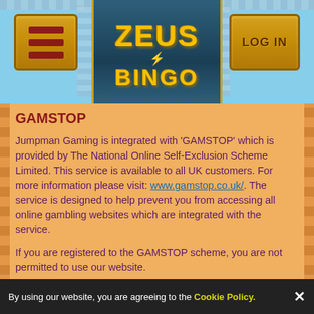[Figure (logo): Zeus Bingo website header with logo in center dark blue panel showing 'ZEUS BINGO' in gold letters with lightning bolt, hamburger menu button on left in gold, LOG IN button on right in gold, sky blue background]
GAMSTOP
Jumpman Gaming is integrated with 'GAMSTOP' which is provided by The National Online Self-Exclusion Scheme Limited. This service is available to all UK customers. For more information please visit: www.gamstop.co.uk/. The service is designed to help prevent you from accessing all online gambling websites which are integrated with the service.
If you are registered to the GAMSTOP scheme, you are not permitted to use our website.
If on a later date (after successful registration with us), you register to the 'GAMSTOP' service, we (via GAMSTOP) will take all reasonable steps to block you
By using our website, you are agreeing to the Cookie Policy. ✕